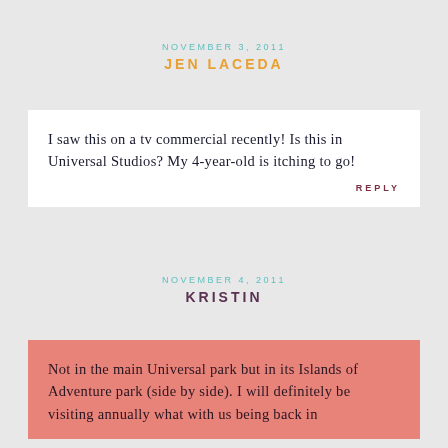NOVEMBER 3, 2011
JEN LACEDA
I saw this on a tv commercial recently! Is this in Universal Studios? My 4-year-old is itching to go!
REPLY
NOVEMBER 4, 2011
KRISTIN
Not in the main Universal park but in its Islands of Adventure park (side by side). I will definitely be visiting annually what with us being back in